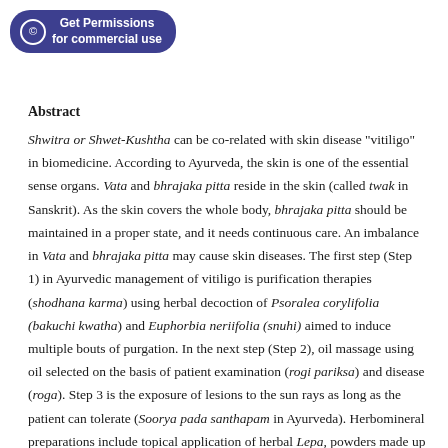Get Permissions for commercial use
Abstract
Shwitra or Shwet-Kushtha can be co-related with skin disease "vitiligo" in biomedicine. According to Ayurveda, the skin is one of the essential sense organs. Vata and bhrajaka pitta reside in the skin (called twak in Sanskrit). As the skin covers the whole body, bhrajaka pitta should be maintained in a proper state, and it needs continuous care. An imbalance in Vata and bhrajaka pitta may cause skin diseases. The first step (Step 1) in Ayurvedic management of vitiligo is purification therapies (shodhana karma) using herbal decoction of Psoralea corylifolia (bakuchi kwatha) and Euphorbia neriifolia (snuhi) aimed to induce multiple bouts of purgation. In the next step (Step 2), oil massage using oil selected on the basis of patient examination (rogi pariksa) and disease (roga). Step 3 is the exposure of lesions to the sun rays as long as the patient can tolerate (Soorya pada santhapam in Ayurveda). Herbomineral preparations include topical application of herbal Lepa, powders made up of medicinal plants (Curna), herbalized ghee preparations similar to paste (Ghrita, semi-solid preparations